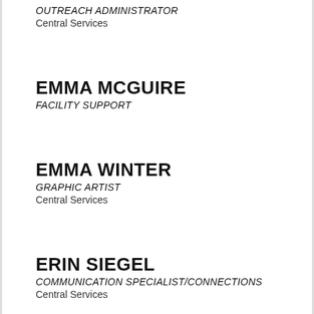OUTREACH ADMINISTRATOR
Central Services
EMMA MCGUIRE
FACILITY SUPPORT
EMMA WINTER
GRAPHIC ARTIST
Central Services
ERIN SIEGEL
COMMUNICATION SPECIALIST/CONNECTIONS
Central Services